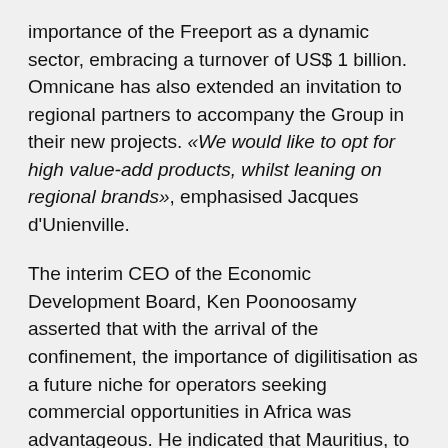importance of the Freeport as a dynamic sector, embracing a turnover of US$ 1 billion. Omnicane has also extended an invitation to regional partners to accompany the Group in their new projects. «We would like to opt for high value-add products, whilst leaning on regional brands», emphasised Jacques d'Unienville.
The interim CEO of the Economic Development Board, Ken Poonoosamy asserted that with the arrival of the confinement, the importance of digilitisation as a future niche for operators seeking commercial opportunities in Africa was advantageous. He indicated that Mauritius, to this end, has developed a «cloud computing» platform destined to serve the continent. Conscious of the necessity of developing the pharmaceutical sector following the effect of the health pandemic, Ken Poonoosamy affirmed his conviction to see Mauritius position itself to take advantage of the vast regional market.
Faced with numerous challenges which confront global